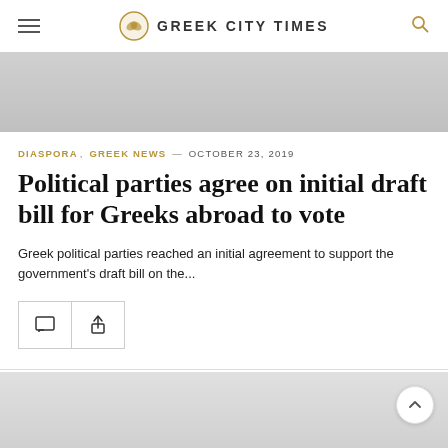GREEK CITY TIMES
[Figure (photo): Top article image placeholder, gray background]
DIASPORA, GREEK NEWS — OCTOBER 23, 2019
Political parties agree on initial draft bill for Greeks abroad to vote
Greek political parties reached an initial agreement to support the government's draft bill on the...
[Figure (photo): Bottom article image placeholder, gray background]